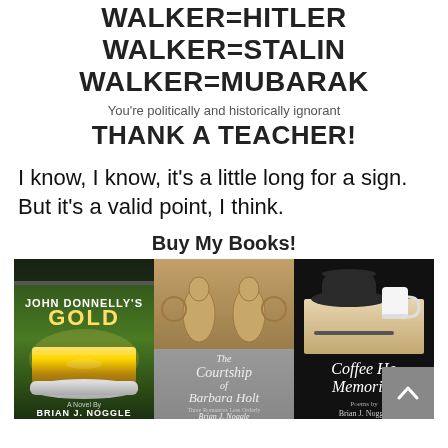WALKER=HITLER
WALKER=STALIN
WALKER=MUBARAK
You're politically and historically ignorant
THANK A TEACHER!
I know, I know, it's a little long for a sign. But it's a valid point, I think.
Buy My Books!
[Figure (photo): Three book covers side by side: 'John Donnelly's Gold' by Brian J. Noggle (green cover with gold bar), 'The Courtship of Barbara Holt' by Brian J. Noggle (tan cover with statues), and 'Coffee House Memories' by Brian J. Noggle (black cover with hat and coffee cup). A grey scroll-to-top button overlaps the third book.]